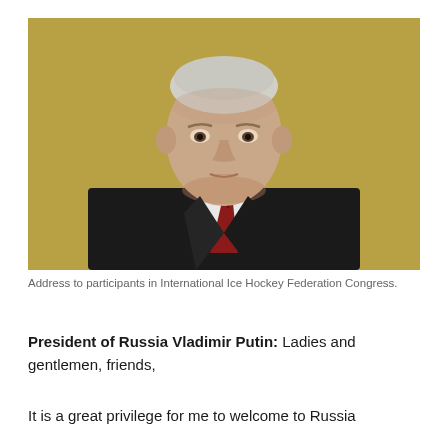[Figure (photo): Portrait photograph of Vladimir Putin in a dark suit with red tie, against a golden/olive background, looking directly forward with a serious expression.]
Address to participants in International Ice Hockey Federation Congress.
President of Russia Vladimir Putin: Ladies and gentlemen, friends,
It is a great privilege for me to welcome to Russia